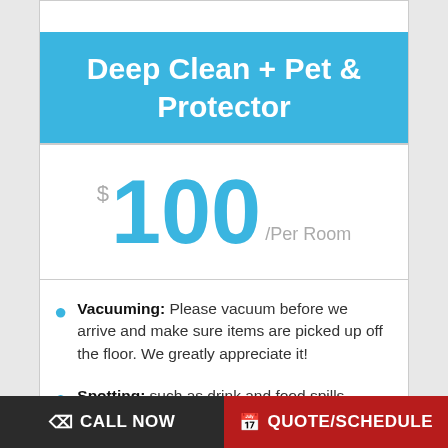Deep Clean + Pet & Protector
$100 /Per Room
Vacuuming: Please vacuum before we arrive and make sure items are picked up off the floor. We greatly appreciate it!
Spotting: such as drink and food spills
CALL NOW   QUOTE/SCHEDULE